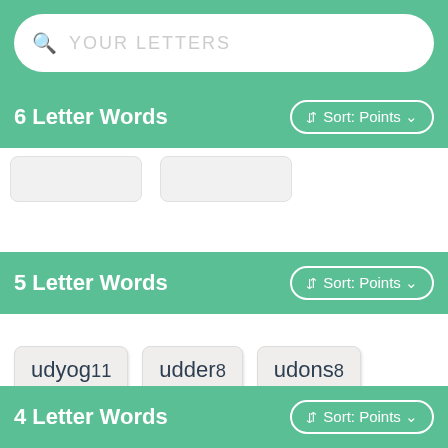YOUR LETTERS (search bar placeholder)
6 Letter Words — Sort: Points
5 Letter Words — Sort: Points
udyog 11
udder 8
udons 8
4 Letter Words — Sort: Points